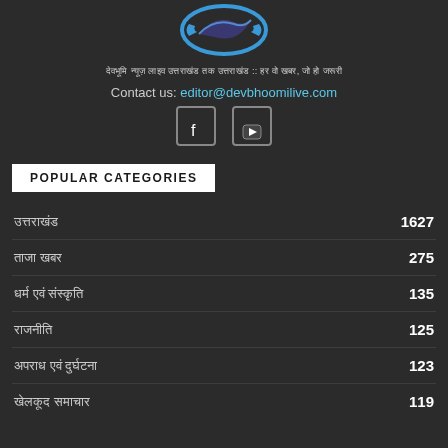[Figure (logo): Circular logo with blue arrows and dark swoosh, devbhoomilive brand mark]
देवभूमि न्यूज़ लाइव उत्तराखंड तक उत्तराखंड :: हर वो खबर, जो हो जरूरी
Contact us: editor@devbhoomilive.com
[Figure (other): Facebook and YouTube social media icons]
POPULAR CATEGORIES
उत्तराखंड  1627
ताजा खबर  275
धर्म एवं संस्कृति  135
राजनीति  125
अपराध एवं दुर्घटना  123
खेलकूद समाचार  119